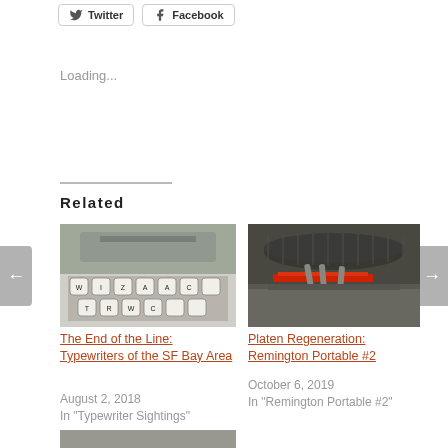[Figure (other): Twitter and Facebook share buttons at top]
Loading...
Related
[Figure (photo): Close-up photo of typewriter keys (WIZAAC visible)]
The End of the Line: Typewriters of the SF Bay Area
August 2, 2018
In "Typewriter Sightings"
[Figure (photo): Close-up photo of Remington Portable typewriter mechanism with red ribbon visible]
Platen Regeneration: Remington Portable #2
October 6, 2019
In "Remington Portable #2"
[Figure (photo): Partial photo of another typewriter at bottom of page]